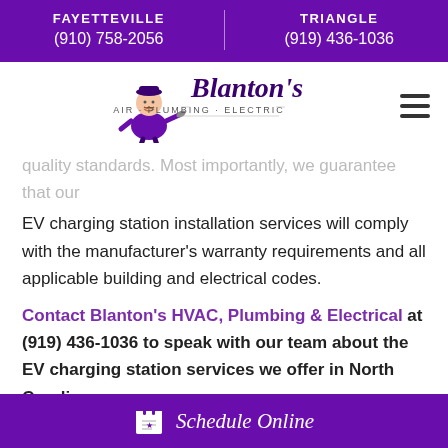FAYETTEVILLE (910) 758-2056 | TRIANGLE (919) 436-1036
[Figure (logo): Blanton's Air Plumbing Electric logo with cartoon serviceman character]
quality standards. Most importantly, we guarantee that our EV charging station installation services will comply with the manufacturer's warranty requirements and all applicable building and electrical codes.
Contact Blanton's HVAC, Plumbing & Electrical at (919) 436-1036 to speak with our team about the EV charging station services we offer in North Carolina.
CONTACT BLANTON'S AIR, PLUMBING &
Schedule Online